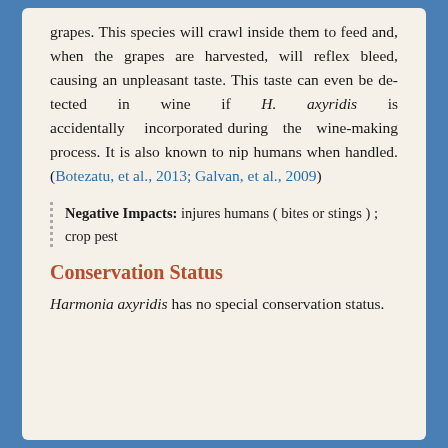grapes. This species will crawl inside them to feed and, when the grapes are harvested, will reflex bleed, causing an unpleasant taste. This taste can even be detected in wine if H. axyridis is accidentally incorporated during the wine-making process. It is also known to nip humans when handled. (Botezatu, et al., 2013; Galvan, et al., 2009)
Negative Impacts: injures humans ( bites or stings ) ; crop pest
Conservation Status
Harmonia axyridis has no special conservation status.